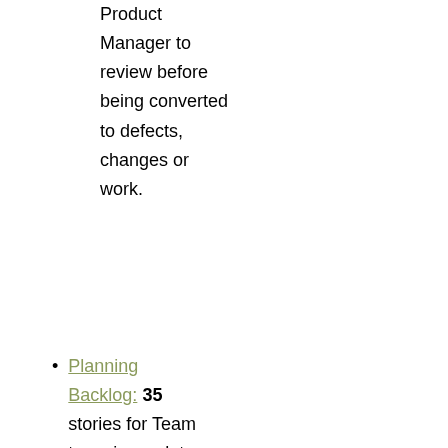Product Manager to review before being converted to defects, changes or work.
Planning Backlog: 35 stories for Team to review, relate to work items and assign point values.
| Iteration #1 |  |
| --- | --- |
|  | Iteration Points Committed |